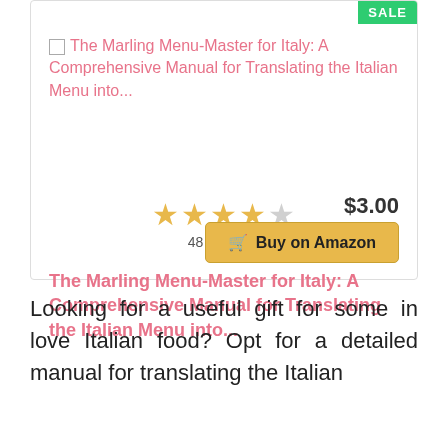[Figure (screenshot): Product listing card for a book with SALE badge, star rating, title, price, and Buy on Amazon button]
The Marling Menu-Master for Italy: A Comprehensive Manual for Translating the Italian Menu into...
48 Reviews
$3.00
Buy on Amazon
Looking for a useful gift for some in love Italian food? Opt for a detailed manual for translating the Italian